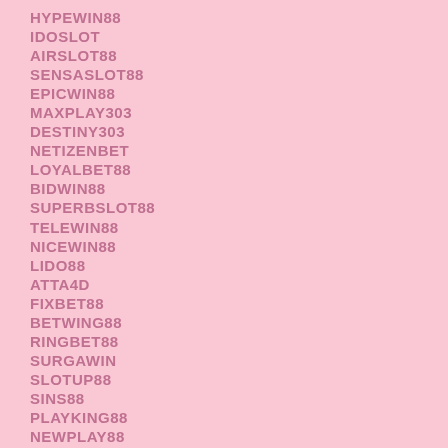HYPEWIN88
IDOSLOT
AIRSLOT88
SENSASLOT88
EPICWIN88
MAXPLAY303
DESTINY303
NETIZENBET
LOYALBET88
BIDWIN88
SUPERBSLOT88
TELEWIN88
NICEWIN88
LIDO88
ATTA4D
FIXBET88
BETWING88
RINGBET88
SURGAWIN
SLOTUP88
SINS88
PLAYKING88
NEWPLAY88
TOTODRAW4D
GRABWIN